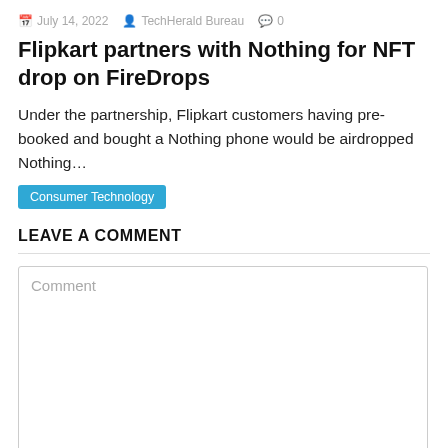July 14, 2022  TechHerald Bureau  0
Flipkart partners with Nothing for NFT drop on FireDrops
Under the partnership, Flipkart customers having pre-booked and bought a Nothing phone would be airdropped Nothing…
Consumer Technology
LEAVE A COMMENT
Comment